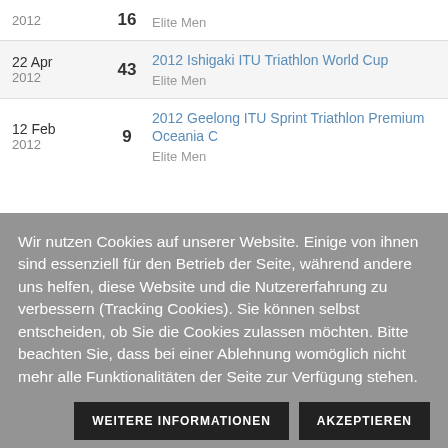| Date | Rank | Event |
| --- | --- | --- |
| 16
2012 |  | Elite Men |
| 22 Apr
2012 | 43 | 2012 Ishigaki ITU Triathlon World Cup
Elite Men |
| 12 Feb
2012 | 9 | 2012 Geelong ITU Sprint Triathlon Premium Oceania C
Elite Men |
Wir nutzen Cookies auf unserer Website. Einige von ihnen sind essenziell für den Betrieb der Seite, während andere uns helfen, diese Website und die Nutzererfahrung zu verbessern (Tracking Cookies). Sie können selbst entscheiden, ob Sie die Cookies zulassen möchten. Bitte beachten Sie, dass bei einer Ablehnung womöglich nicht mehr alle Funktionalitäten der Seite zur Verfügung stehen.